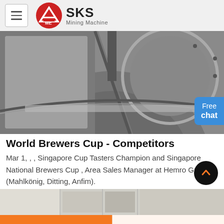SKS Mining Machine
[Figure (photo): Close-up industrial photo of heavy metal mining machine components — grey steel curved housing and structural parts]
World Brewers Cup - Competitors
Mar 1, , , Singapore Cup Tasters Champion and Singapore National Brewers Cup , Area Sales Manager at Hemro Group (Mahlkönig, Ditting, Anfim).
[Figure (photo): Partial view of a second image strip at the bottom of the content area]
Get a Quote  WhatsApp